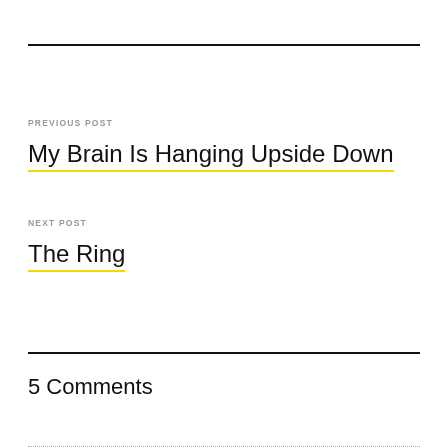PREVIOUS POST
My Brain Is Hanging Upside Down
NEXT POST
The Ring
5 Comments